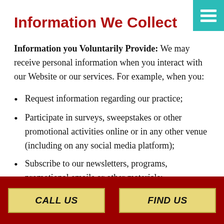Information We Collect
Information you Voluntarily Provide: We may receive personal information when you interact with our Website or our services. For example, when you:
Request information regarding our practice;
Participate in surveys, sweepstakes or other promotional activities online or in any other venue (including on any social media platform);
Subscribe to our newsletters, programs, promotional emails or other materials;
Apply for a job or submit a resume (CV) or...
CALL US   FIND US